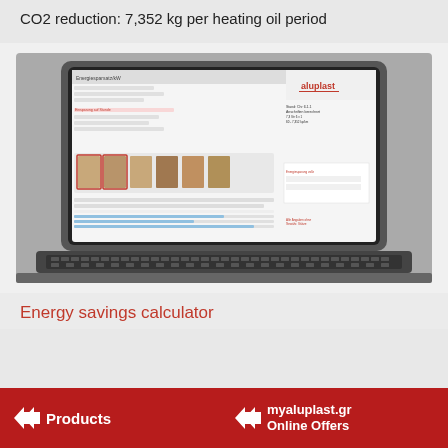CO2 reduction: 7,352 kg per heating oil period
[Figure (screenshot): Laptop displaying aluplast energy savings calculator software with form fields, window/door options, and results showing CO2 reduction values. The aluplast logo is visible in the top right of the screen.]
Energy savings calculator
Products   myaluplast.gr Online Offers